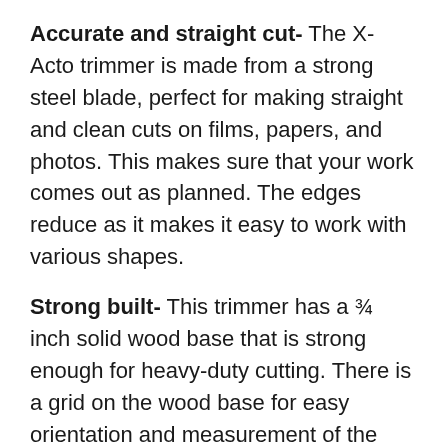Accurate and straight cut- The X-Acto trimmer is made from a strong steel blade, perfect for making straight and clean cuts on films, papers, and photos. This makes sure that your work comes out as planned. The edges reduce as it makes it easy to work with various shapes.
Strong built- This trimmer has a ¾ inch solid wood base that is strong enough for heavy-duty cutting. There is a grid on the wood base for easy orientation and measurement of the paper, allowing precise and accurate cut. The commercial guillotine blade can cut 10-15 sheets at once.
Blade- The paper trimmer features a perpetual Edge self-sharpening system which helps to keep the hardened steel blade sharp to every cut. The trimmer also has safety guards that help keep your